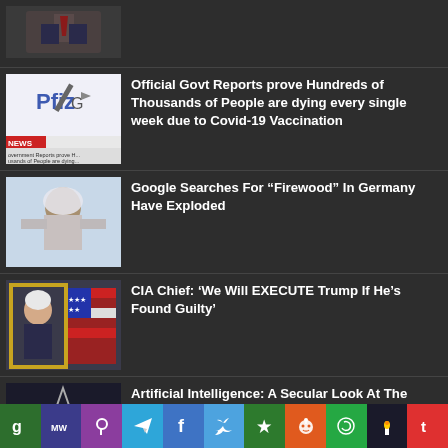[Figure (photo): Partial news thumbnail at top, man in suit with red tie]
[Figure (photo): Pfizer logo/news image with syringe]
Official Govt Reports prove Hundreds of Thousands of People are dying every single week due to Covid-19 Vaccination
[Figure (photo): Person covered in snow/ice]
Google Searches For “Firewood” In Germany Have Exploded
[Figure (photo): Man with US flag and golden frame]
CIA Chief: ‘We Will EXECUTE Trump If He’s Found Guilty’
[Figure (photo): Pentagram and figure, partial at bottom]
Artificial Intelligence: A Secular Look At The Digital Antichrist